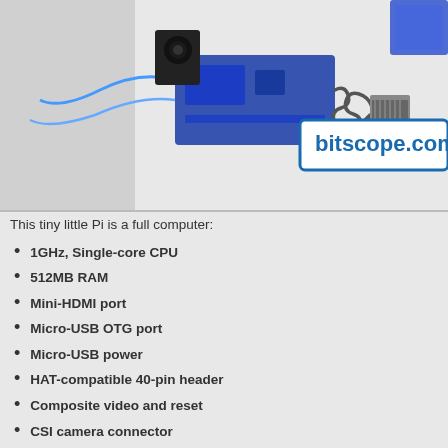[Figure (photo): Photo of a Raspberry Pi Zero connected to a BitScope device with blue wires and coiled cable. In the upper right corner a white box with blue border shows 'bitscope.com' text.]
This tiny little Pi is a full computer:
1GHz, Single-core CPU
512MB RAM
Mini-HDMI port
Micro-USB OTG port
Micro-USB power
HAT-compatible 40-pin header
Composite video and reset
CSI camera connector
All this is the same as the last edition of the original version (V1.3...
The game changer in this one is full support for Bluetooth 4.0 and Wi-Fi!
It's the same wireless connectivity that impressed us at the Ras...